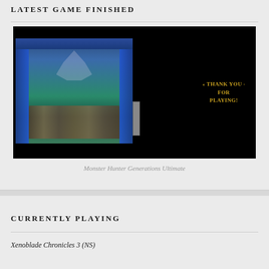LATEST GAME FINISHED
[Figure (screenshot): A video game end screen for Monster Hunter Generations Ultimate showing a theatrical stage with chibi characters and 'THANK YOU FOR PLAYING!' text in gold on a black background]
Monster Hunter Generations Ultimate
CURRENTLY PLAYING
Xenoblade Chronicles 3 (NS)